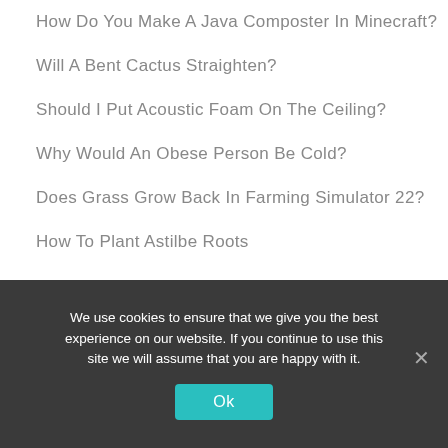How Do You Make A Java Composter In Minecraft?
Will A Bent Cactus Straighten?
Should I Put Acoustic Foam On The Ceiling?
Why Would An Obese Person Be Cold?
Does Grass Grow Back In Farming Simulator 22?
How To Plant Astilbe Roots
Can You Level A Yard With A Tiller?
What Do You Do With Picture Christmas Cards After The Holidays?
We use cookies to ensure that we give you the best experience on our website. If you continue to use this site we will assume that you are happy with it.